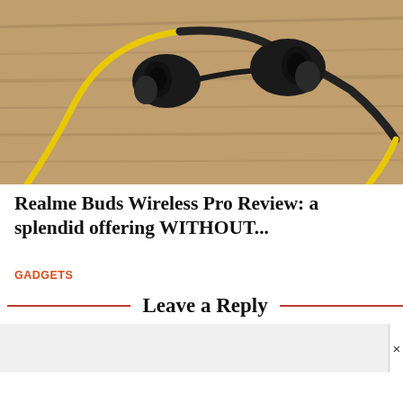[Figure (photo): Close-up photo of black and yellow neckband wireless earbuds (Realme Buds Wireless Pro) lying on a wooden surface. The earbuds have black silicone ear tips and a yellow cable connecting them.]
Realme Buds Wireless Pro Review: a splendid offering WITHOUT...
GADGETS
Leave a Reply